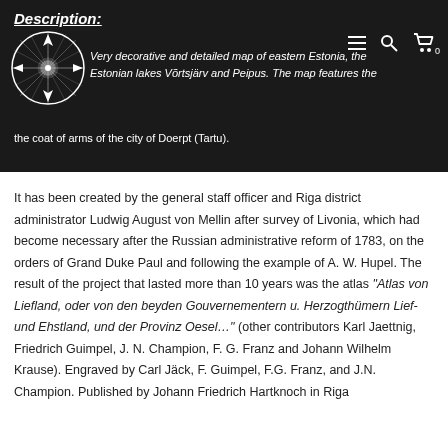Description: Very decorative and detailed map of eastern Estonia, the Estonian lakes Võrtsjärv and Peipus. The map features the coat of arms of the city of Doerpt (Tartu).
[Figure (logo): Compass rose / fleur-de-lis logo in black and white]
It has been created by the general staff officer and Riga district administrator Ludwig August von Mellin after survey of Livonia, which had become necessary after the Russian administrative reform of 1783, on the orders of Grand Duke Paul and following the example of A. W. Hupel. The result of the project that lasted more than 10 years was the atlas "Atlas von Liefland, oder von den beyden Gouvernementern u. Herzogthümern Lief- und Ehstland, und der Provinz Oesel…" (other contributors Karl Jaettnig, Friedrich Guimpel, J. N. Champion, F. G. Franz and Johann Wilhelm Krause). Engraved by Carl Jäck, F. Guimpel, F.G. Franz, and J.N. Champion. Published by Johann Friedrich Hartknoch in Riga